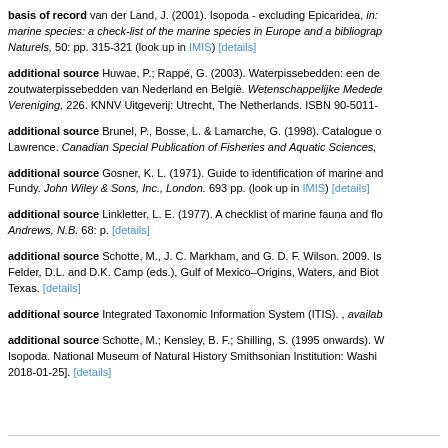basis of record van der Land, J. (2001). Isopoda - excluding Epicaridea, in: marine species: a check-list of the marine species in Europe and a bibliography. Naturels, 50: pp. 315-321 (look up in IMIS) [details]
additional source Huwae, P.; Rappé, G. (2003). Waterpissebedden: een de zoutwaterpissebedden van Nederland en België. Wetenschappelijke Mededel Vereniging, 226. KNNV Uitgeverij: Utrecht, The Netherlands. ISBN 90-5011-
additional source Brunel, P., Bosse, L. & Lamarche, G. (1998). Catalogue o Lawrence. Canadian Special Publication of Fisheries and Aquatic Sciences,
additional source Gosner, K. L. (1971). Guide to identification of marine and Fundy. John Wiley & Sons, Inc., London. 693 pp. (look up in IMIS) [details]
additional source Linkletter, L. E. (1977). A checklist of marine fauna and flo Andrews, N.B. 68: p. [details]
additional source Schotte, M., J. C. Markham, and G. D. F. Wilson. 2009. Is Felder, D.L. and D.K. Camp (eds.), Gulf of Mexico–Origins, Waters, and Biot Texas. [details]
additional source Integrated Taxonomic Information System (ITIS). , availab
additional source Schotte, M.; Kensley, B. F.; Shilling, S. (1995 onwards). W Isopoda. National Museum of Natural History Smithsonian Institution: Washi 2018-01-25]. [details]